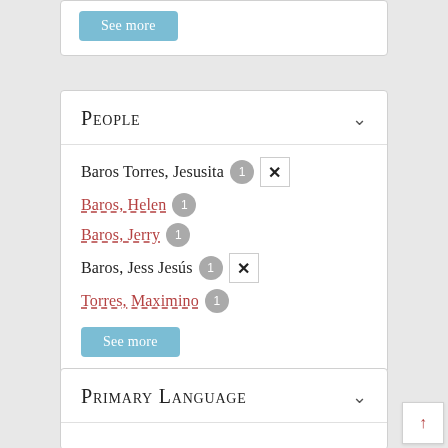See more
People
Baros Torres, Jesusita 1 ✕
Baros, Helen 1
Baros, Jerry 1
Baros, Jess Jesús 1 ✕
Torres, Maximino 1
See more
Primary Language